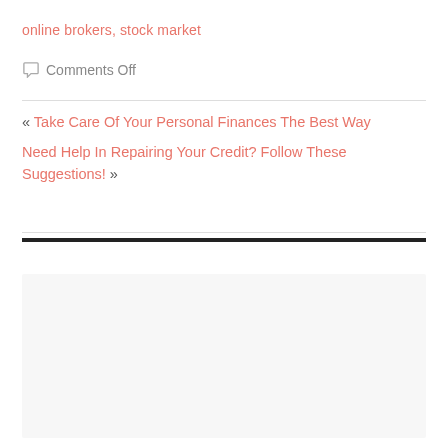online brokers, stock market
Comments Off
« Take Care Of Your Personal Finances The Best Way
Need Help In Repairing Your Credit? Follow These Suggestions! »
CATEGORIES